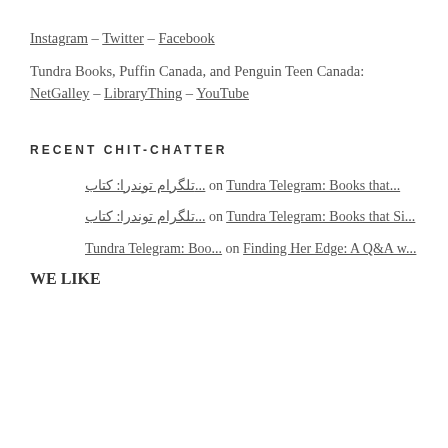Instagram – Twitter – Facebook
Tundra Books, Puffin Canada, and Penguin Teen Canada: NetGalley – LibraryThing – YouTube
RECENT CHIT-CHATTER
تلگرام توندرا: کتاب... on Tundra Telegram: Books that...
تلگرام توندرا: کتاب... on Tundra Telegram: Books that Si...
Tundra Telegram: Boo... on Finding Her Edge: A Q&A w...
WE LIKE